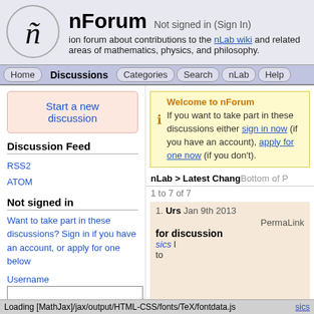nForum — Not signed in (Sign In) — A discussion forum about contributions to the nLab wiki and related areas of mathematics, physics, and philosophy.
Home | Discussions | Categories | Search | nLab | Help
Start a new discussion
Discussion Feed
RSS2
ATOM
Not signed in
Want to take part in these discussions? Sign in if you have an account, or apply for one below
Username
Password
Welcome to nForum
If you want to take part in these discussions either sign in now (if you have an account), apply for one now (if you don't).
nLab > Latest Chang  Bottom of P
1 to 7 of 7
1. Urs  Jan 9th 2013
PermaLink
for discussion
sics l to
Loading [MathJax]/jax/output/HTML-CSS/fonts/TeX/fontdata.js